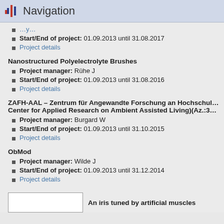Navigation
Start/End of project: 01.09.2013 until 31.08.2017
Project details
Nanostructured Polyelectrolyte Brushes
Project manager: Rühe J
Start/End of project: 01.09.2013 until 31.08.2016
Project details
ZAFH-AAL – Zentrum für Angewandte Forschung an Hochschulen fü... Center for Applied Research on Ambient Assisted Living)(Az.:32-754...
Project manager: Burgard W
Start/End of project: 01.09.2013 until 31.10.2015
Project details
ObMod
Project manager: Wilde J
Start/End of project: 01.09.2013 until 31.12.2014
Project details
An iris tuned by artificial muscles